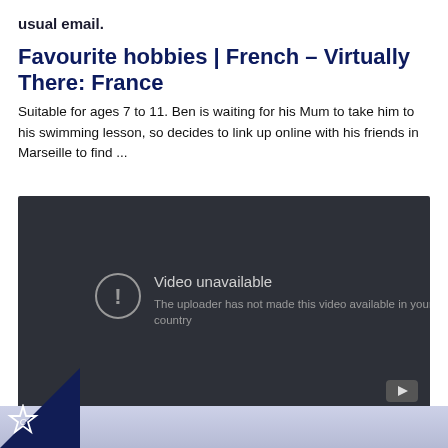usual email.
Favourite hobbies | French – Virtually There: France
Suitable for ages 7 to 11. Ben is waiting for his Mum to take him to his swimming lesson, so decides to link up online with his friends in Marseille to find ...
[Figure (screenshot): Video unavailable message on dark background. Text reads 'Video unavailable' and 'The uploader has not made this video available in your country'. YouTube play button icon in bottom right corner.]